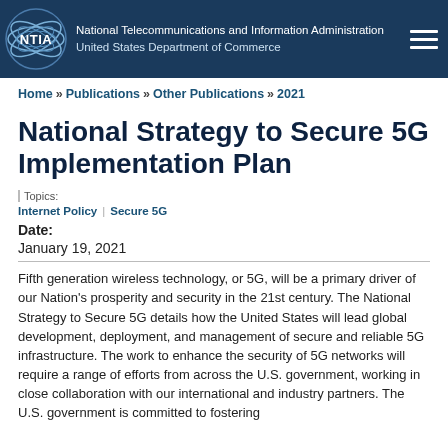National Telecommunications and Information Administration | United States Department of Commerce
Home » Publications » Other Publications » 2021
National Strategy to Secure 5G Implementation Plan
Topics:
Internet Policy   Secure 5G
Date:
January 19, 2021
Fifth generation wireless technology, or 5G, will be a primary driver of our Nation's prosperity and security in the 21st century. The National Strategy to Secure 5G details how the United States will lead global development, deployment, and management of secure and reliable 5G infrastructure. The work to enhance the security of 5G networks will require a range of efforts from across the U.S. government, working in close collaboration with our international and industry partners. The U.S. government is committed to fostering